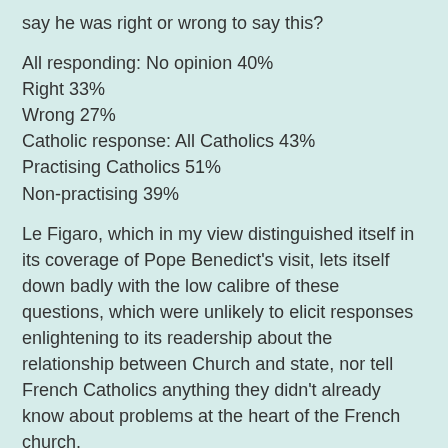say he was right or wrong to say this?
All responding: No opinion 40%
Right 33%
Wrong 27%
Catholic response: All Catholics 43%
Practising Catholics 51%
Non-practising 39%
Le Figaro, which in my view distinguished itself in its coverage of Pope Benedict's visit, lets itself down badly with the low calibre of these questions, which were unlikely to elicit responses enlightening to its readership about the relationship between Church and state, nor tell French Catholics anything they didn't already know about problems at the heart of the French church.
For an outsider, however, the questions and the results may seem opaque but they do raise a couple of interesting points, which I'll examine in a later post, but think that Le Figaro failed doubly in taking such a small sample.